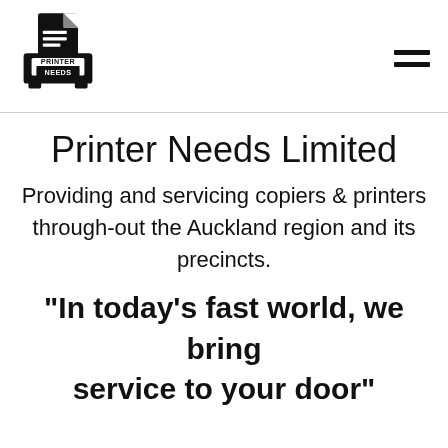[Figure (logo): Printer Needs logo: black square with document icon on top and 'PRINTER NEEDS' text in white on black background]
Printer Needs Limited
Providing and servicing copiers & printers through-out the Auckland region and its precincts.
"In today's fast world, we bring service to your door"